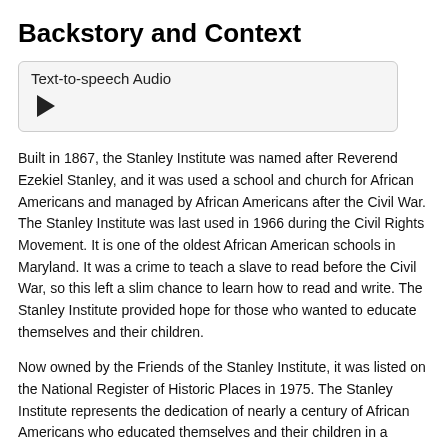Backstory and Context
[Figure (other): Text-to-speech Audio player widget with a play button]
Built in 1867, the Stanley Institute was named after Reverend Ezekiel Stanley, and it was used a school and church for African Americans and managed by African Americans after the Civil War. The Stanley Institute was last used in 1966 during the Civil Rights Movement. It is one of the oldest African American schools in Maryland. It was a crime to teach a slave to read before the Civil War, so this left a slim chance to learn how to read and write. The Stanley Institute provided hope for those who wanted to educate themselves and their children.
Now owned by the Friends of the Stanley Institute, it was listed on the National Register of Historic Places in 1975. The Stanley Institute represents the dedication of nearly a century of African Americans who educated themselves and their children in a suppressive society in which they lived as slaves and eventually as free individuals in a racist society with segregated school systems.